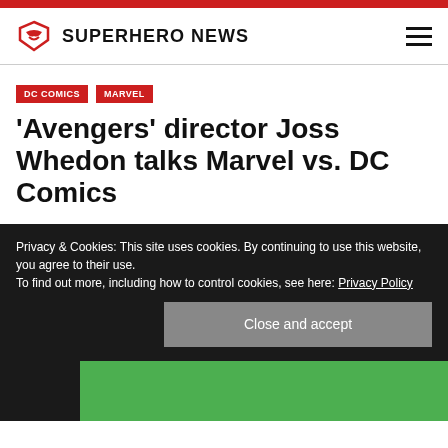SUPERHERO NEWS
DC COMICS
MARVEL
'Avengers' director Joss Whedon talks Marvel vs. DC Comics
Privacy & Cookies: This site uses cookies. By continuing to use this website, you agree to their use.
To find out more, including how to control cookies, see here: Privacy Policy
Close and accept
[Figure (photo): Bottom portion showing a person in front of a green screen background, with dark equipment visible on the left]